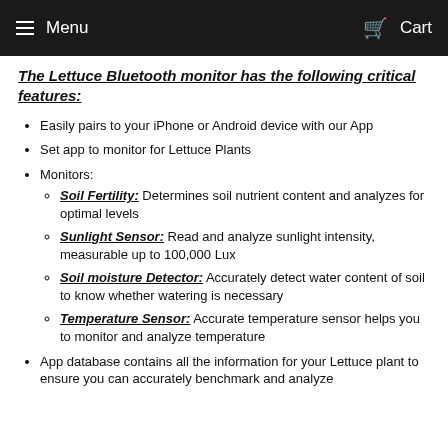Menu   Cart
The Lettuce Bluetooth monitor has the following critical features:
Easily pairs to your iPhone or Android device with our App
Set app to monitor for Lettuce Plants
Monitors:
Soil Fertility: Determines soil nutrient content and analyzes for optimal levels
Sunlight Sensor: Read and analyze sunlight intensity, measurable up to 100,000 Lux
Soil moisture Detector: Accurately detect water content of soil to know whether watering is necessary
Temperature Sensor: Accurate temperature sensor helps you to monitor and analyze temperature
App database contains all the information for your Lettuce plant to ensure you can accurately benchmark and analyze